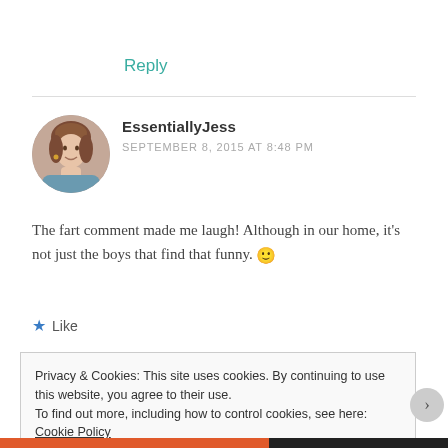Reply
EssentiallyJess
SEPTEMBER 8, 2015 AT 8:48 PM
The fart comment made me laugh! Although in our home, it's not just the boys that find that funny. 🙂
★ Like
Privacy & Cookies: This site uses cookies. By continuing to use this website, you agree to their use.
To find out more, including how to control cookies, see here: Cookie Policy
Close and accept